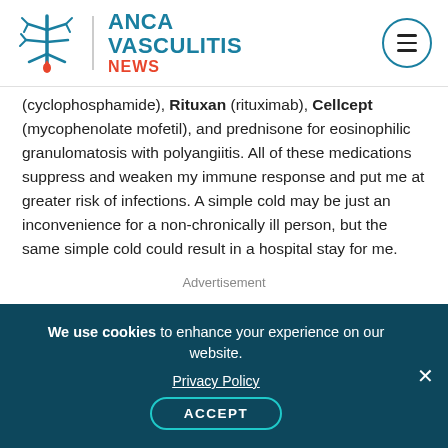[Figure (logo): ANCA Vasculitis News logo with stylized vasculitis icon, teal text 'ANCA VASCULITIS' and red 'NEWS', menu icon circle top right]
(cyclophosphamide), Rituxan (rituximab), Cellcept (mycophenolate mofetil), and prednisone for eosinophilic granulomatosis with polyangiitis. All of these medications suppress and weaken my immune response and put me at greater risk of infections. A simple cold may be just an inconvenience for a non-chronically ill person, but the same simple cold could result in a hospital stay for me.
Advertisement
We use cookies to enhance your experience on our website. Privacy Policy ACCEPT